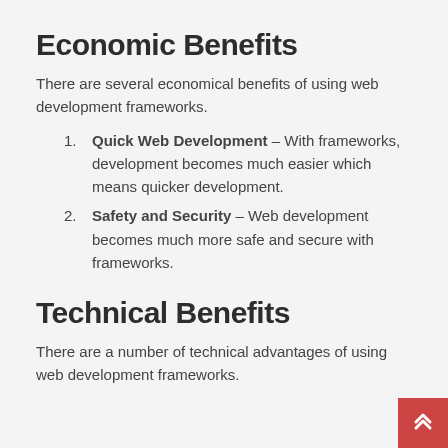Economic Benefits
There are several economical benefits of using web development frameworks.
Quick Web Development – With frameworks, development becomes much easier which means quicker development.
Safety and Security – Web development becomes much more safe and secure with frameworks.
Technical Benefits
There are a number of technical advantages of using web development frameworks.